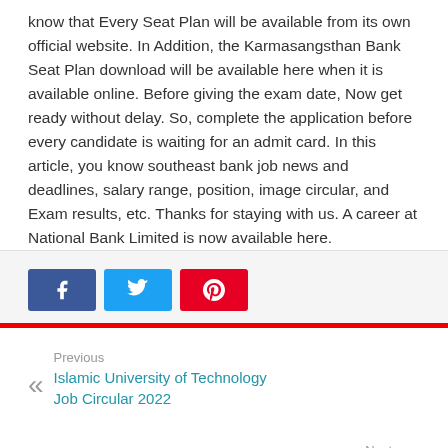know that Every Seat Plan will be available from its own official website. In Addition, the Karmasangsthan Bank Seat Plan download will be available here when it is available online. Before giving the exam date, Now get ready without delay. So, complete the application before every candidate is waiting for an admit card. In this article, you know southeast bank job news and deadlines, salary range, position, image circular, and Exam results, etc. Thanks for staying with us. A career at National Bank Limited is now available here.
[Figure (other): Social share buttons: Facebook (blue), Twitter (light blue), Pinterest (red)]
Previous
Islamic University of Technology Job Circular 2022
Next
Rupali Bank Limited Job Circular 2022 – www.rupalibank.org